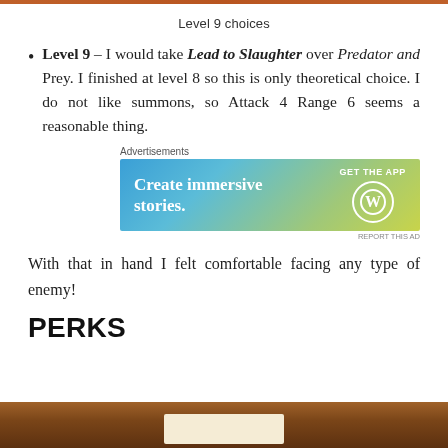Level 9 choices
Level 9 – I would take Lead to Slaughter over Predator and Prey. I finished at level 8 so this is only theoretical choice. I do not like summons, so Attack 4 Range 6 seems a reasonable thing.
[Figure (screenshot): WordPress advertisement banner: 'Create immersive stories. GET THE APP' with WordPress logo on a blue-green gradient background.]
With that in hand I felt comfortable facing any type of enemy!
PERKS
[Figure (photo): Bottom of page image showing a wooden surface, partially cropped.]